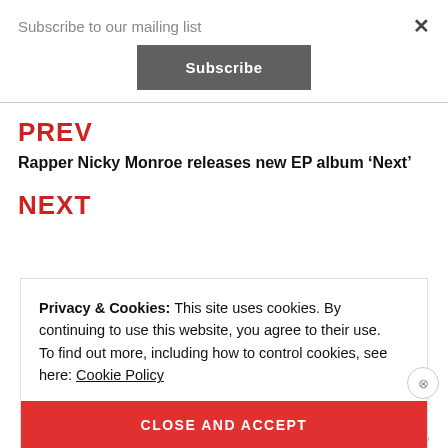Subscribe to our mailing list
Subscribe
PREV
Rapper Nicky Monroe releases new EP album ‘Next’
NEXT
Privacy & Cookies: This site uses cookies. By continuing to use this website, you agree to their use.
To find out more, including how to control cookies, see here: Cookie Policy
CLOSE AND ACCEPT